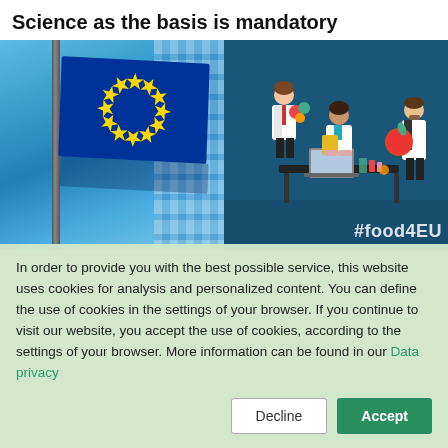Science as the basis is mandatory
[Figure (photo): Two-panel image: left panel shows EU flag waving in front of glass building; right panel shows illustrated scientists in lab coats working at a desk with food items and lab equipment, with #food4EU hashtag in bottom right corner]
In order to provide you with the best possible service, this website uses cookies for analysis and personalized content. You can define the use of cookies in the settings of your browser. If you continue to visit our website, you accept the use of cookies, according to the settings of your browser. More information can be found in our Data privacy